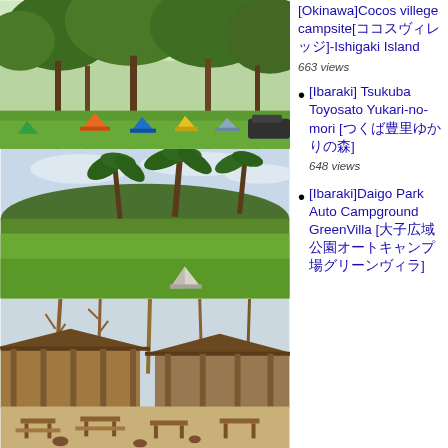[Figure (photo): Campsite in a wooded area with tents on green grass under large leafy trees, daytime]
[Figure (photo): Open grass campground area with a single small tent, palm-like trees in background under cloudy sky]
[Figure (photo): Outdoor picnic area with wooden shelters, benches, and tables among bare trees]
[Okinawa]Cocos villege campsite[ココスヴィレッジ]-Ishigaki Island
663 views
[Ibaraki] Tsukuba Toyosato Yukari-no-mori [つくば豊里ゆかりの森]
648 views
[Ibaraki]Daigo Park Auto Campground GreenVilla [大子広域公園オートキャンプ場グリーンヴィラ]